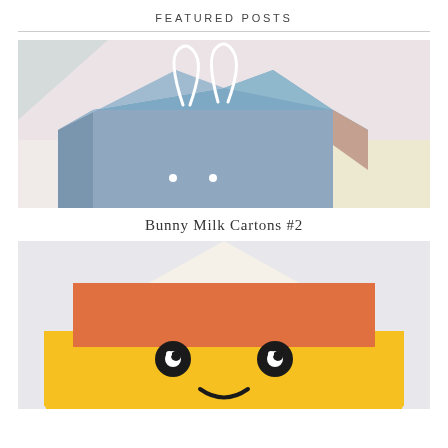FEATURED POSTS
[Figure (photo): A light blue paper milk carton box with white bunny ear outlines drawn on it, set against a pastel background of mint, pink, and cream colors.]
Bunny Milk Cartons #2
[Figure (photo): A candy corn shaped object with orange top section and yellow bottom section, featuring a kawaii-style face with big eyes and a small smile, set against a light gray background.]